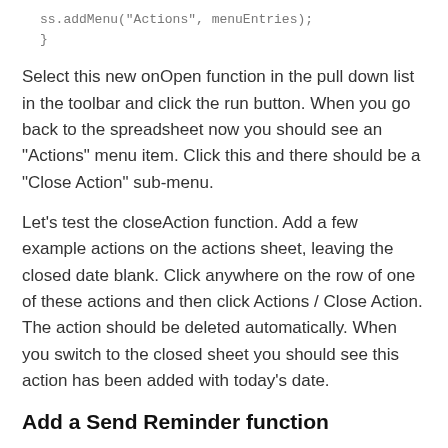ss.addMenu("Actions", menuEntries);
}
Select this new onOpen function in the pull down list in the toolbar and click the run button. When you go back to the spreadsheet now you should see an "Actions" menu item. Click this and there should be a "Close Action" sub-menu.
Let's test the closeAction function. Add a few example actions on the actions sheet, leaving the closed date blank. Click anywhere on the row of one of these actions and then click Actions / Close Action. The action should be deleted automatically. When you switch to the closed sheet you should see this action has been added with today's date.
Add a Send Reminder function
So we have sheets with our open and closed actions, and we have a menu item to mark an open action as closed. Now let's get to sending reminders. Add the following function below the onOpen function in the Script Editor. Make sure to change the email address at the top of the function.